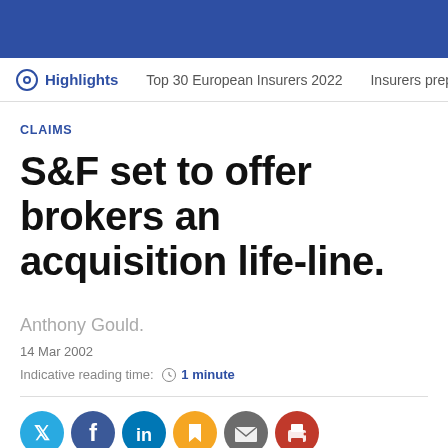Highlights | Top 30 European Insurers 2022 | Insurers prepare
CLAIMS
S&F set to offer brokers an acquisition life-line.
Anthony Gould.
14 Mar 2002
Indicative reading time: 1 minute